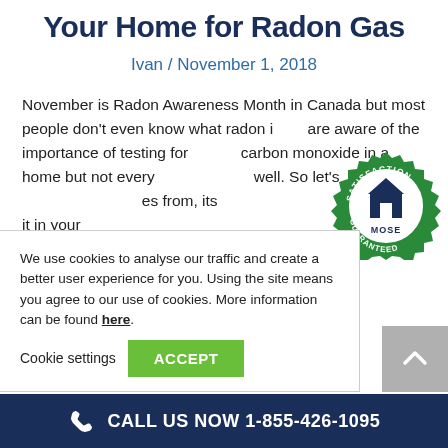7 Good Reasons to Test Your Home for Radon Gas
Ivan / November 1, 2018
November is Radon Awareness Month in Canada but most people don't even know what radon is, or are aware of the importance of testing for carbon monoxide in a home but not every... well. So let's ...es from, its ...r it in your
[Figure (logo): Green satisfaction guarantee badge with MOSE branding, circular seal shape with 'SATISFACTION GUARANTEED' text]
We use cookies to analyse our traffic and create a better user experience for you. Using the site means you agree to our use of cookies. More information can be found here.
Cookie settings  ACCEPT
CALL US NOW 1-855-426-1095